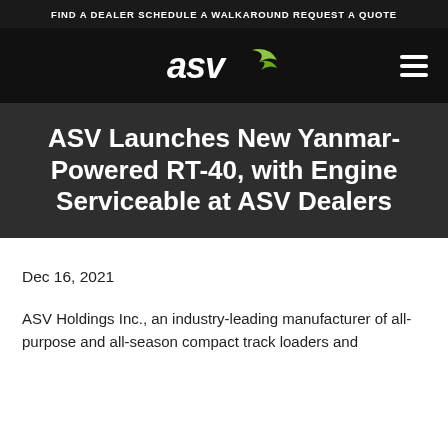FIND A DEALER   SCHEDULE A WALKAROUND   REQUEST A QUOTE
[Figure (logo): ASV logo with green swoosh on dark background, with hamburger menu icon on right]
ASV Launches New Yanmar-Powered RT-40, with Engine Serviceable at ASV Dealers
Dec 16, 2021
ASV Holdings Inc., an industry-leading manufacturer of all-purpose and all-season compact track loaders and